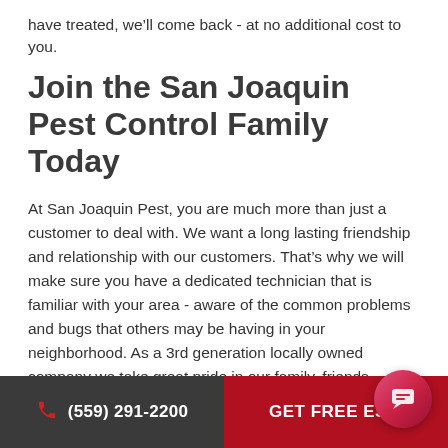have treated, we'll come back - at no additional cost to you.
Join the San Joaquin Pest Control Family Today
At San Joaquin Pest, you are much more than just a customer to deal with. We want a long lasting friendship and relationship with our customers. That's why we will make sure you have a dedicated technician that is familiar with your area - aware of the common problems and bugs that others may be having in your neighborhood. As a 3rd generation locally owned company we take great pride in our family, friends, customers and the community we serve. That's why we have been successful in the Valley now for more than 45 years. If you ever have a problem or question we are right here at (209) 723-1191.
(559) 291-2200   GET FREE ESTI...